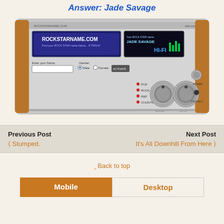Answer: Jade Savage
[Figure (screenshot): Screenshot of rockstarname.com displayed as a retro stereo receiver/radio device with wood paneling. Shows ROCKSTARNAME.COM branding, a text input for 'Enter your Name', Gender radio buttons (Male/Female), a result display showing 'JADE SAVAGE', genre selector with POP, ROCK, R&P, COUNTRY options, and metallic knobs for LINKS, INFO, CONTACT.]
Previous Post
< Stumped.
Next Post
It's All Downhill From Here >
⇑ Back to top
Mobile | Desktop